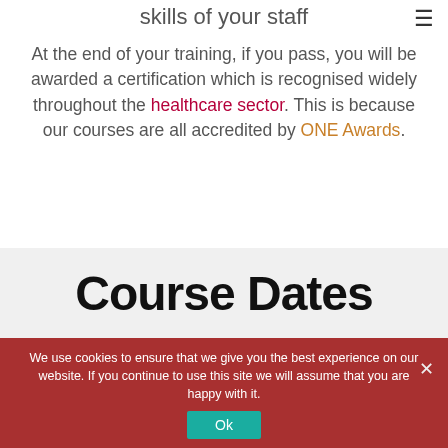skills of your staff
At the end of your training, if you pass, you will be awarded a certification which is recognised widely throughout the healthcare sector. This is because our courses are all accredited by ONE Awards.
Course Dates
We use cookies to ensure that we give you the best experience on our website. If you continue to use this site we will assume that you are happy with it.